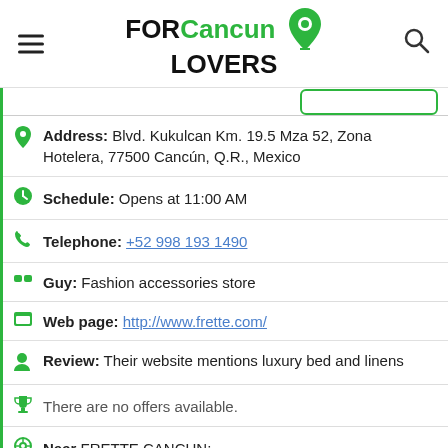FORCancun LOVERS
Address: Blvd. Kukulcan Km. 19.5 Mza 52, Zona Hotelera, 77500 Cancún, Q.R., Mexico
Schedule: Opens at 11:00 AM
Telephone: +52 998 193 1490
Guy: Fashion accessories store
Web page: http://www.frette.com/
Review: Their website mentions luxury bed and linens
There are no offers available.
Near FRETTE CANCUN:
a 10 meters away specialists financial advisor: Ruz y